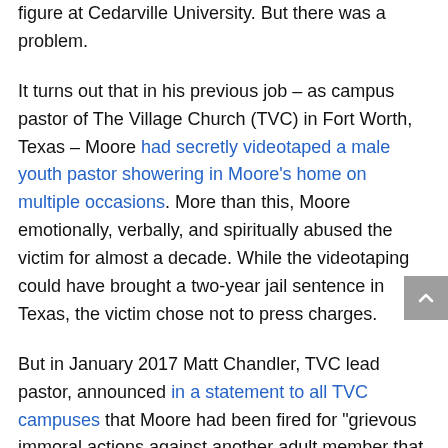figure at Cedarville University. But there was a problem.
It turns out that in his previous job – as campus pastor of The Village Church (TVC) in Fort Worth, Texas – Moore had secretly videotaped a male youth pastor showering in Moore's home on multiple occasions. More than this, Moore emotionally, verbally, and spiritually abused the victim for almost a decade. While the videotaping could have brought a two-year jail sentence in Texas, the victim chose not to press charges.
But in January 2017 Matt Chandler, TVC lead pastor, announced in a statement to all TVC campuses that Moore had been fired for "grievous immoral actions against another adult member that disqualify him as an elder and staff member."
Nevertheless, within a few months Moore was hired by his old friend, Thomas White, to work at Cedarville.
It is obvious that White and the Cedarville administration and the Cedarville Board of Trustees did not come close to